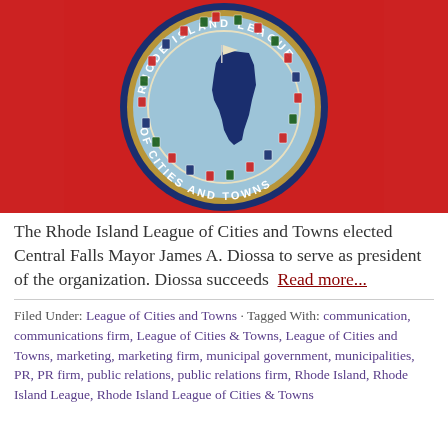[Figure (logo): Rhode Island League of Cities and Towns circular seal/logo on a red background. The seal features a light blue circle with a dark blue silhouette of Rhode Island state map and surrounding municipal coat-of-arms shields arranged in a ring, with text reading 'RHODE ISLAND LEAGUE OF CITIES AND TOWNS'.]
The Rhode Island League of Cities and Towns elected Central Falls Mayor James A. Diossa to serve as president of the organization. Diossa succeeds  Read more...
Filed Under: League of Cities and Towns · Tagged With: communication, communications firm, League of Cities & Towns, League of Cities and Towns, marketing, marketing firm, municipal government, municipalities, PR, PR firm, public relations, public relations firm, Rhode Island, Rhode Island League, Rhode Island League of Cities & Towns